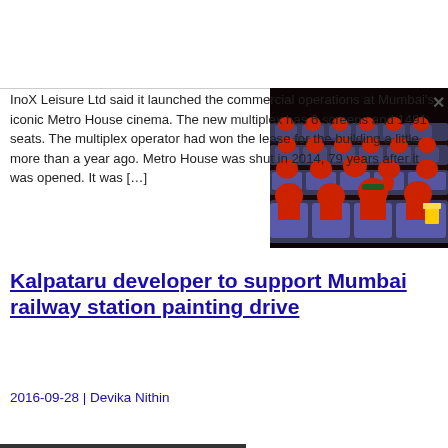[Figure (photo): Children in red school uniforms sitting in blue cinema seats inside a movie theater, some waving and holding popcorn.]
InoX Leisure Ltd said it launched the commercial operations at Mumbai's iconic Metro House cinema. The new multiplex has 6 screens and 1491 seats. The multiplex operator had won the lease for the building a little more than a year ago. Metro House was shut in 2014, 79 years after it was opened. It was […]
Kalpataru developer to support Mumbai railway station painting drive
2016-09-28 | Devika Nithin